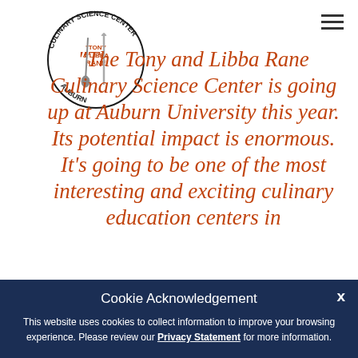[Figure (logo): Tony and Libba Rane Culinary Science Center circular logo with utensils]
"The Tony and Libba Rane Culinary Science Center is going up at Auburn University this year. Its potential impact is enormous. It's going to be one of the most interesting and exciting culinary education centers in
Cookie Acknowledgement
This website uses cookies to collect information to improve your browsing experience. Please review our Privacy Statement for more information.